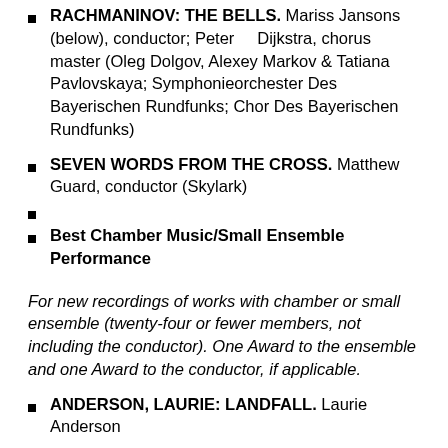RACHMANINOV: THE BELLS. Mariss Jansons (below), conductor; Peter Dijkstra, chorus master (Oleg Dolgov, Alexey Markov & Tatiana Pavlovskaya; Symphonieorchester Des Bayerischen Rundfunks; Chor Des Bayerischen Rundfunks)
SEVEN WORDS FROM THE CROSS. Matthew Guard, conductor (Skylark)
Best Chamber Music/Small Ensemble Performance
For new recordings of works with chamber or small ensemble (twenty-four or fewer members, not including the conductor). One Award to the ensemble and one Award to the conductor, if applicable.
ANDERSON, LAURIE: LANDFALL. Laurie Anderson